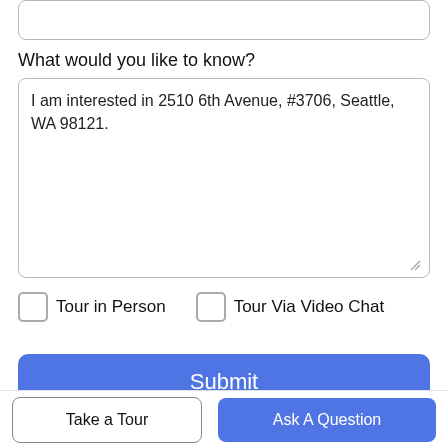What would you like to know?
I am interested in 2510 6th Avenue, #3706, Seattle, WA 98121.
Tour in Person
Tour Via Video Chat
Submit
Disclaimer: By entering your information and submitting this form, you agree to our Terms of Use and Privacy Policy and that you may be contacted by
Take a Tour
Ask A Question